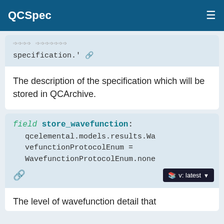QCSpec
specification.'
The description of the specification which will be stored in QCArchive.
field store_wavefunction: qcelemental.models.results.WavefunctionProtocolEnum = WavefunctionProtocolEnum.none
The level of wavefunction detail that